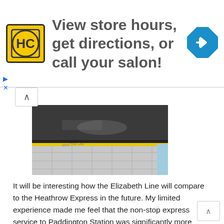[Figure (other): Advertisement banner: HC salon logo (yellow square with HC letters), text 'View store hours, get directions, or call your salon!', and a blue diamond-shaped navigation arrow icon on the right.]
[Figure (photo): Photo of a train platform showing a train, yellow line on the platform edge, and tiled floor.]
It will be interesting how the Elizabeth Line will compare to the Heathrow Express in the future. My limited experience made me feel that the non-stop express service to Paddington Station was significantly more popular than the Elizabeth Line. Of course, the Heathrow Express comes with being designed for air travelers, toilets and a two-class system – whoever needs that on a 15 minute trip. In addition, there are also coach services, especially the National Express bus to Victoria Coach Station.